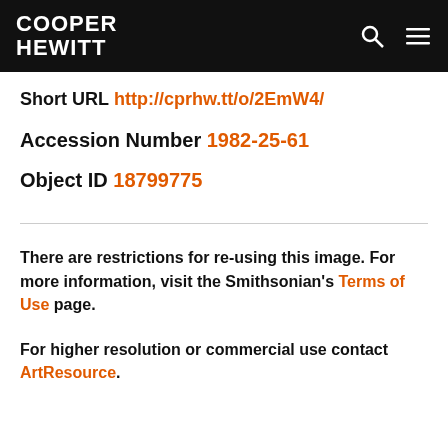COOPER HEWITT
Short URL http://cprhw.tt/o/2EmW4/
Accession Number 1982-25-61
Object ID 18799775
There are restrictions for re-using this image. For more information, visit the Smithsonian's Terms of Use page.
For higher resolution or commercial use contact ArtResource.